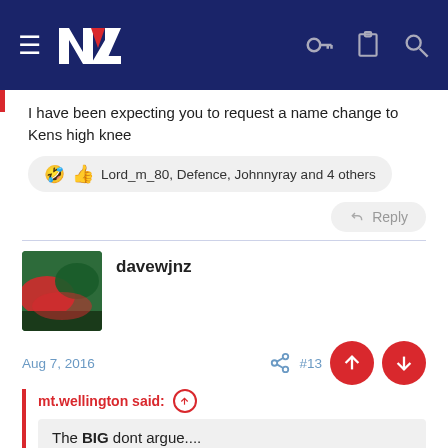NZ Warriors forum navigation bar
I have been expecting you to request a name change to Kens high knee
🤣 👍 Lord_m_80, Defence, Johnnyray and 4 others
Reply
davewjnz
Aug 7, 2016
mt.wellington said:
The BIG dont argue....